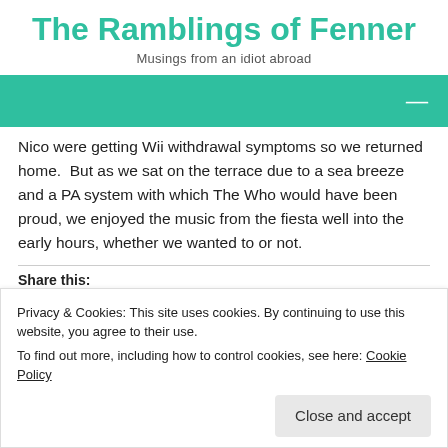The Ramblings of Fenner
Musings from an idiot abroad
[Figure (other): Teal/green navigation bar with a white horizontal dash menu icon on the right]
Nico were getting Wii withdrawal symptoms so we returned home.  But as we sat on the terrace due to a sea breeze and a PA system with which The Who would have been proud, we enjoyed the music from the fiesta well into the early hours, whether we wanted to or not.
Share this:
[Figure (other): Row of social sharing icon circles in various colors (teal, blue, light blue, grey, green, dark blue, light grey)]
Privacy & Cookies: This site uses cookies. By continuing to use this website, you agree to their use.
To find out more, including how to control cookies, see here: Cookie Policy